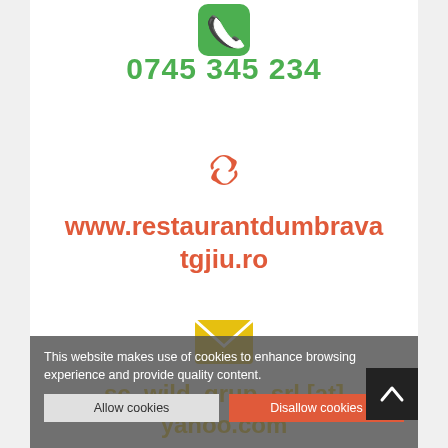[Figure (illustration): Green phone/call icon at top center]
0745 345 234
[Figure (illustration): Orange chain/link icon in center]
www.restaurantdumbravatgjiu.ro
[Figure (illustration): Yellow email/envelope icon]
sc_wild_grup_srl [at] yahoo.com
This website makes use of cookies to enhance browsing experience and provide quality content.
Allow cookies
Disallow cookies